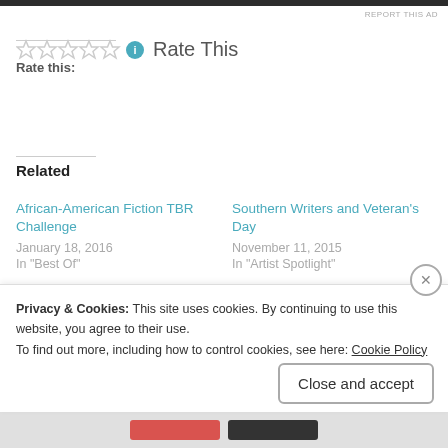REPORT THIS AD
[Figure (other): Star rating widget with 5 empty stars and info icon]
Rate this:  Rate This
Related
African-American Fiction TBR Challenge
January 18, 2016
In "Best Of"
Southern Writers and Veteran's Day
November 11, 2015
In "Artist Spotlight"
February Preview
February 1, 2016
In "Books"
Privacy & Cookies: This site uses cookies. By continuing to use this website, you agree to their use.
To find out more, including how to control cookies, see here: Cookie Policy
Close and accept